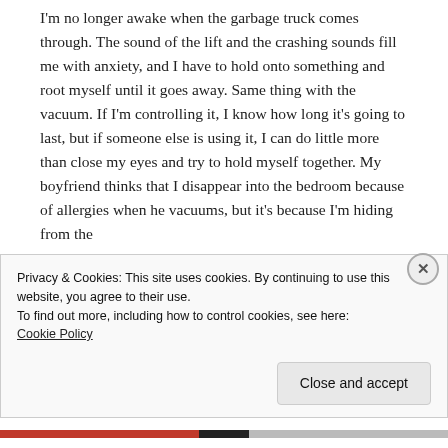I'm no longer awake when the garbage truck comes through. The sound of the lift and the crashing sounds fill me with anxiety, and I have to hold onto something and root myself until it goes away. Same thing with the vacuum. If I'm controlling it, I know how long it's going to last, but if someone else is using it, I can do little more than close my eyes and try to hold myself together. My boyfriend thinks that I disappear into the bedroom because of allergies when he vacuums, but it's because I'm hiding from the
Privacy & Cookies: This site uses cookies. By continuing to use this website, you agree to their use.
To find out more, including how to control cookies, see here: Cookie Policy
Close and accept